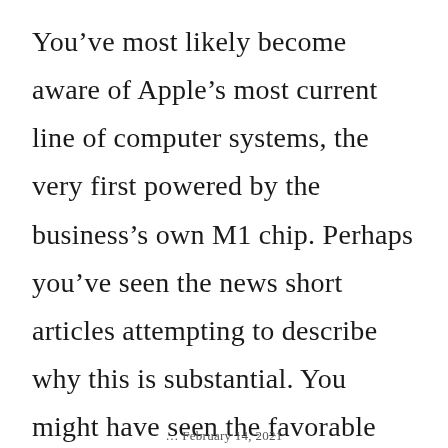You've most likely become aware of Apple's most current line of computer systems, the very first powered by the business's own M1 chip. Perhaps you've seen the news short articles attempting to describe why this is substantial. You might have seen the favorable evaluations, declaring the brand-new line launched in November 2020 that includes Macbook […]
… February 14, 2021